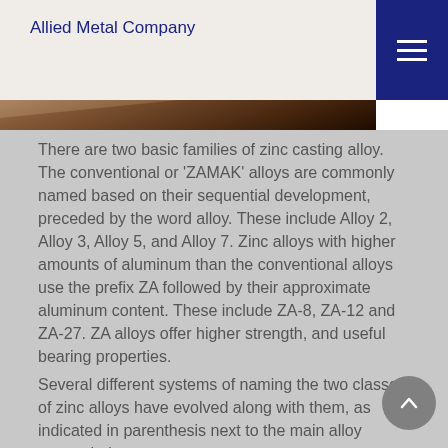Allied Metal Company
[Figure (photo): Close-up photo of metallic surfaces stacked at an angle, showing warm brown/copper tones — likely metal sheets or bars]
There are two basic families of zinc casting alloy. The conventional or 'ZAMAK' alloys are commonly named based on their sequential development, preceded by the word alloy. These include Alloy 2, Alloy 3, Alloy 5, and Alloy 7. Zinc alloys with higher amounts of aluminum than the conventional alloys use the prefix ZA followed by their approximate aluminum content. These include ZA-8, ZA-12 and ZA-27. ZA alloys offer higher strength, and useful bearing properties.
Several different systems of naming the two classes of zinc alloys have evolved along with them, as indicated in parenthesis next to the main alloy names below.
Major Alloy